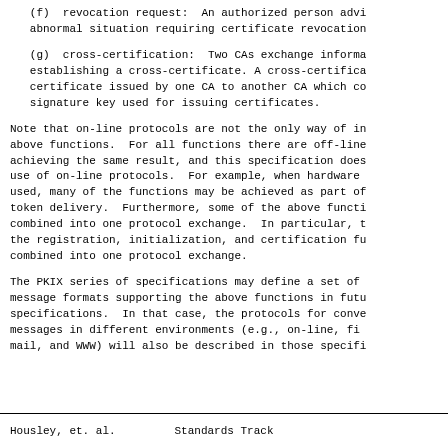(f)  revocation request:  An authorized person advi abnormal situation requiring certificate revocation
(g)  cross-certification:  Two CAs exchange informa establishing a cross-certificate. A cross-certifica certificate issued by one CA to another CA which co signature key used for issuing certificates.
Note that on-line protocols are not the only way of i above functions.  For all functions there are off-line achieving the same result, and this specification does use of on-line protocols.  For example, when hardware used, many of the functions may be achieved as part o token delivery.  Furthermore, some of the above functi combined into one protocol exchange.  In particular, t the registration, initialization, and certification fu combined into one protocol exchange.
The PKIX series of specifications may define a set of message formats supporting the above functions in futu specifications.  In that case, the protocols for conve messages in different environments (e.g., on-line, fi mail, and WWW) will also be described in those specifi
Housley, et. al.          Standards Track